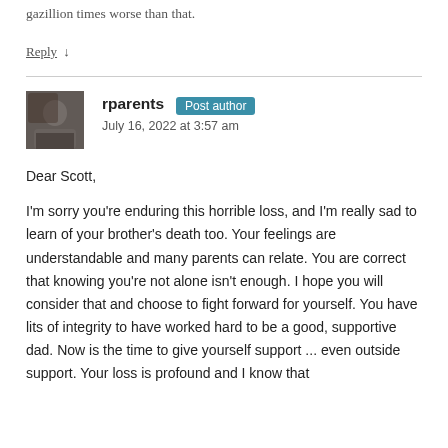gazillion times worse than that.
Reply ↓
rparents Post author
July 16, 2022 at 3:57 am
Dear Scott,
I'm sorry you're enduring this horrible loss, and I'm really sad to learn of your brother's death too. Your feelings are understandable and many parents can relate. You are correct that knowing you're not alone isn't enough. I hope you will consider that and choose to fight forward for yourself. You have lits of integrity to have worked hard to be a good, supportive dad. Now is the time to give yourself support ... even outside support. Your loss is profound and I know that